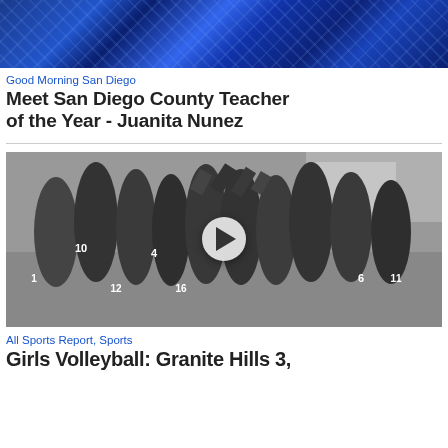[Figure (photo): Blue abstract broadcast graphic background with light rays]
Good Morning San Diego
Meet San Diego County Teacher of the Year - Juanita Nunez
[Figure (photo): Black and white photo of girls volleyball team huddling with hands together. A play button overlay is centered on the image. Players wearing numbered jerseys including 10, 4, 12, 16, 6, 11.]
All Sports Report, Sports
Girls Volleyball: Granite Hills 3,